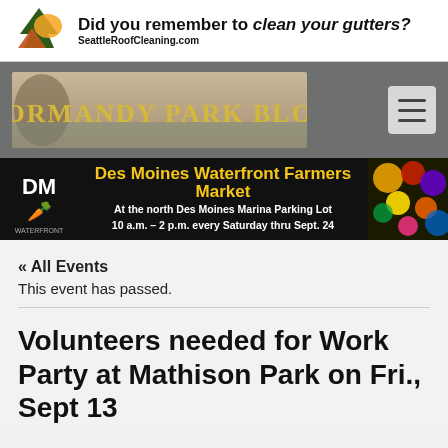[Figure (logo): Seattle Roof Cleaning logo with tree and mountain graphic, and text 'SeattleRoofCleaning.com']
Did you remember to clean your gutters?
[Figure (logo): Normandy Park Blog banner logo with scenic background]
[Figure (infographic): Des Moines Waterfront Farmers Market banner: At the north Des Moines Marina Parking Lot, 10 a.m. - 2 p.m. every Saturday thru Sept. 24]
« All Events
This event has passed.
Volunteers needed for Work Party at Mathison Park on Fri., Sept 13